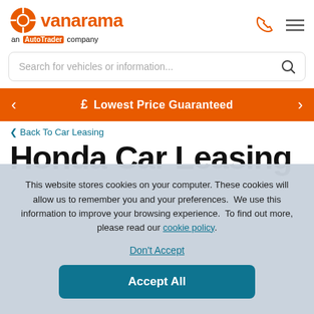vanarama — an AutoTrader company
Search for vehicles or information...
£ Lowest Price Guaranteed
< Back To Car Leasing
Honda Car Leasing
This website stores cookies on your computer. These cookies will allow us to remember you and your preferences.  We use this information to improve your browsing experience.  To find out more, please read our cookie policy. Don't Accept Accept All